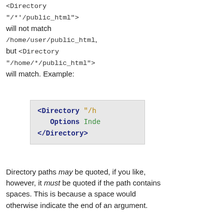<Directory "/*'/public_html"> will not match /home/user/public_html, but <Directory "/home/*/public_html"> will match. Example:
[Figure (screenshot): Code block showing Apache Directory directive example with syntax highlighting: <Directory "/home/*/public_html"> Options Indexes </Directory>]
Directory paths may be quoted, if you like, however, it must be quoted if the path contains spaces. This is because a space would otherwise indicate the end of an argument.
Be careful with the directory-path arguments: